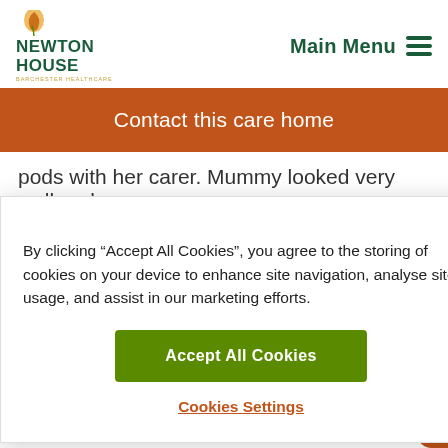[Figure (logo): Newton House logo with Barchester Healthcare tagline and a decorative flame/quill icon]
Main Menu
Contact this care home
pods with her carer. Mummy looked very well and
By clicking “Accept All Cookies”, you agree to the storing of cookies on your device to enhance site navigation, analyse site usage, and assist in our marketing efforts.
Accept All Cookies
Cookies Settings